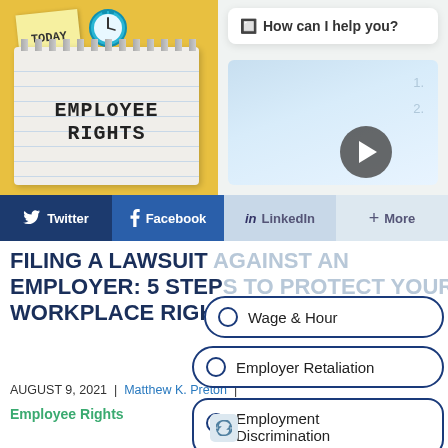[Figure (photo): Yellow background with notebook showing EMPLOYEE RIGHTS text, sticky note saying TODAY, and a blue alarm clock]
[Figure (screenshot): Chat widget overlay asking 'How can I help you?' with clipboard background and play button]
Twitter
Facebook
LinkedIn
More
FILING A LAWSUIT AGAINST AN EMPLOYER: 5 STEPS TO PROTECT YOUR WORKPLACE RIGHTS
AUGUST 9, 2021 | Matthew K. Preton |
Employee Rights
Wage & Hour
Employer Retaliation
Employment Discrimination